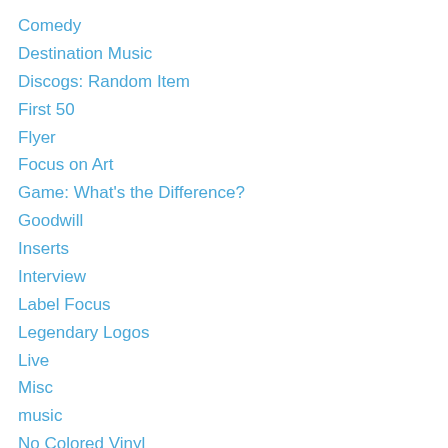Comedy
Destination Music
Discogs: Random Item
First 50
Flyer
Focus on Art
Game: What's the Difference?
Goodwill
Inserts
Interview
Label Focus
Legendary Logos
Live
Misc
music
No Colored Vinyl
Nonsensical Rants
Nostalgia
picture disc
Pre-Order